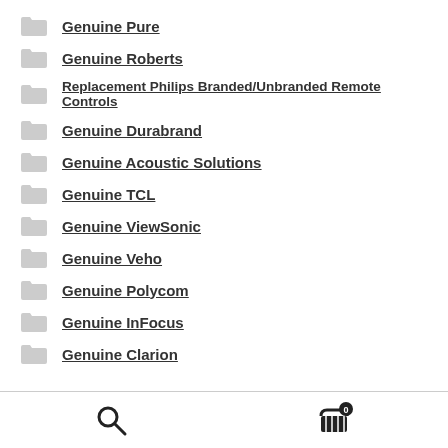Genuine Pure
Genuine Roberts
Replacement Philips Branded/Unbranded Remote Controls
Genuine Durabrand
Genuine Acoustic Solutions
Genuine TCL
Genuine ViewSonic
Genuine Veho
Genuine Polycom
Genuine InFocus
Genuine Clarion
Search | Cart (0)